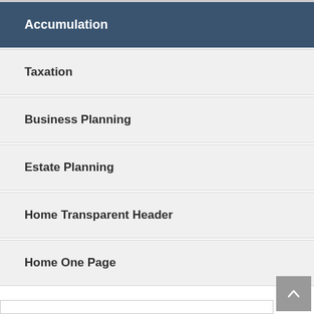Accumulation
Taxation
Business Planning
Estate Planning
Home Transparent Header
Home One Page